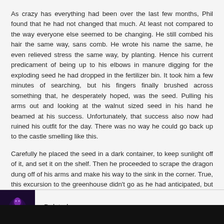As crazy has everything had been over the last few months, Phil found that he had not changed that much. At least not compared to the way everyone else seemed to be changing. He still combed his hair the same way, sans comb. He wrote his name the same, he even relieved stress the same way, by planting. Hence his current predicament of being up to his elbows in manure digging for the exploding seed he had dropped in the fertilizer bin. It took him a few minutes of searching, but his fingers finally brushed across something that, he desperately hoped, was the seed. Pulling his arms out and looking at the walnut sized seed in his hand he beamed at his success. Unfortunately, that success also now had ruined his outfit for the day. There was no way he could go back up to the castle smelling like this.
Carefully he placed the seed in a dark container, to keep sunlight off of it, and set it on the shelf. Then he proceeded to scrape the dragon dung off of his arms and make his way to the sink in the corner. True, this excursion to the greenhouse didn't go as he had anticipated, but that didn't really matter to him. There was something about getting his hands dirty, helping something else survive, that seemed to loosen the tension in his shoulders and give him a new perspective on his problems.
[Figure (photo): Small dark thumbnail image with purple/violet tones showing a silhouetted figure, used as a user avatar.]
Deleted